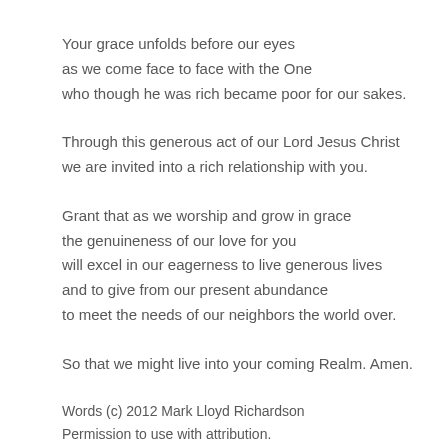Your grace unfolds before our eyes
as we come face to face with the One
who though he was rich became poor for our sakes.
Through this generous act of our Lord Jesus Christ
we are invited into a rich relationship with you.
Grant that as we worship and grow in grace
the genuineness of our love for you
will excel in our eagerness to live generous lives
and to give from our present abundance
to meet the needs of our neighbors the world over.
So that we might live into your coming Realm. Amen.
Words (c) 2012 Mark Lloyd Richardson
Permission to use with attribution.